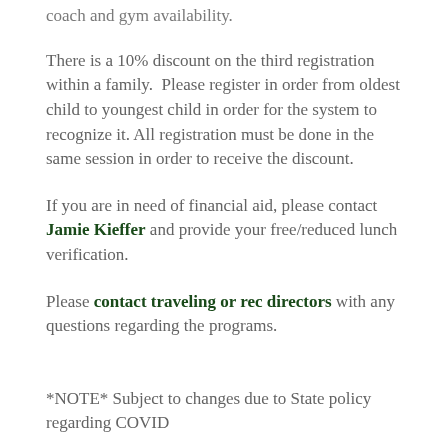coach and gym availability.
There is a 10% discount on the third registration within a family.  Please register in order from oldest child to youngest child in order for the system to recognize it. All registration must be done in the same session in order to receive the discount.
If you are in need of financial aid, please contact Jamie Kieffer and provide your free/reduced lunch verification.
Please contact traveling or rec directors with any questions regarding the programs.
*NOTE* Subject to changes due to State policy regarding COVID